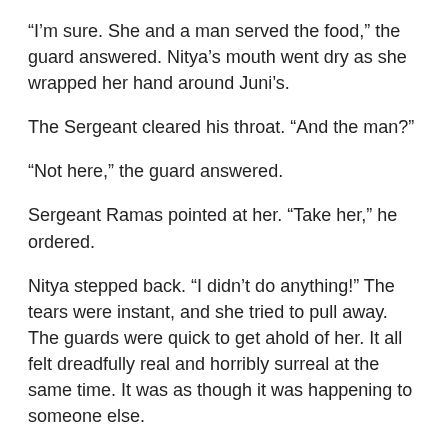“I’m sure. She and a man served the food,” the guard answered. Nitya’s mouth went dry as she wrapped her hand around Juni’s.
The Sergeant cleared his throat. “And the man?”
“Not here,” the guard answered.
Sergeant Ramas pointed at her. “Take her,” he ordered.
Nitya stepped back. “I didn’t do anything!” The tears were instant, and she tried to pull away. The guards were quick to get ahold of her. It all felt dreadfully real and horribly surreal at the same time. It was as though it was happening to someone else.